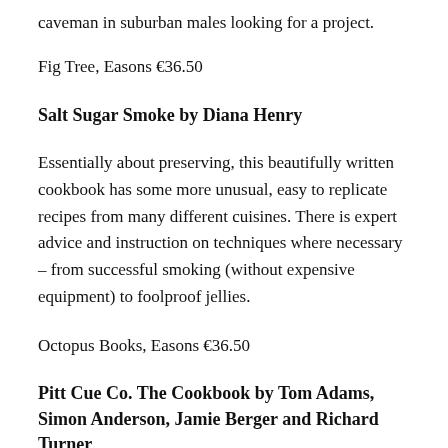caveman in suburban males looking for a project.
Fig Tree, Easons €36.50
Salt Sugar Smoke by Diana Henry
Essentially about preserving, this beautifully written cookbook has some more unusual, easy to replicate recipes from many different cuisines. There is expert advice and instruction on techniques where necessary – from successful smoking (without expensive equipment) to foolproof jellies.
Octopus Books, Easons €36.50
Pitt Cue Co. The Cookbook by Tom Adams, Simon Anderson, Jamie Berger and Richard Turner
Filled with smoke and fire and a load of 'how to' detail, this